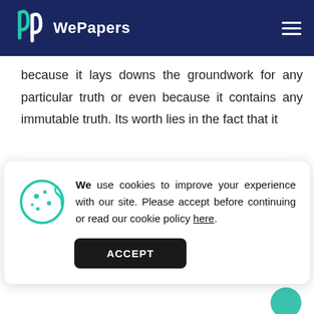WePapers
because it lays downs the groundwork for any particular truth or even because it contains any immutable truth. Its worth lies in the fact that it
We use cookies to improve your experience with our site. Please accept before continuing or read our cookie policy here.
ACCEPT
from the myths and superstitions of the Middle Ages. One of the most fascinating sections in
Continue reading...